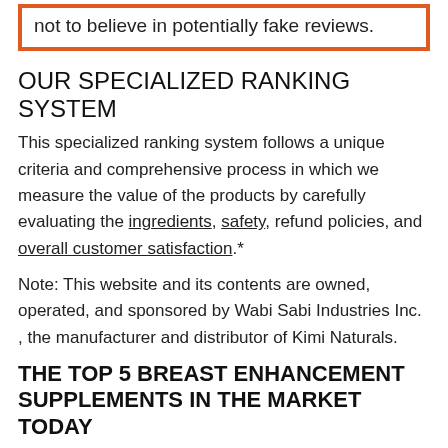not to believe in potentially fake reviews.
OUR SPECIALIZED RANKING SYSTEM
This specialized ranking system follows a unique criteria and comprehensive process in which we measure the value of the products by carefully evaluating the ingredients, safety, refund policies, and overall customer satisfaction.*
Note: This website and its contents are owned, operated, and sponsored by Wabi Sabi Industries Inc. , the manufacturer and distributor of Kimi Naturals.
THE TOP 5 BREAST ENHANCEMENT SUPPLEMENTS IN THE MARKET TODAY
After hours of extensive research, in consideration of combined ratings and online reviews from customers